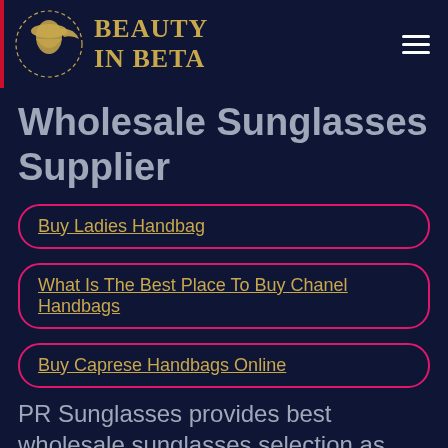BEAUTY IN BETA
Wholesale Sunglasses Supplier
Buy Ladies Handbag
What Is The Best Place To Buy Chanel Handbags
Buy Caprese Handbags Online
PR Sunglasses provides best wholesale sunglasses selection as well